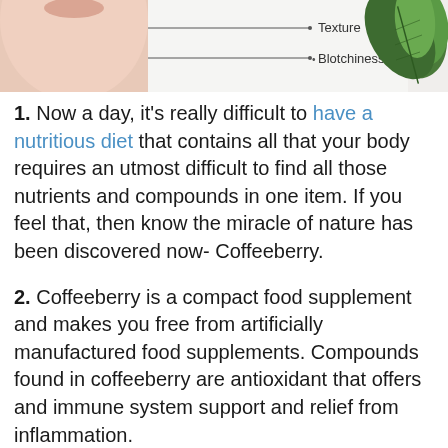[Figure (illustration): Partial view of a face diagram with arrows pointing to 'Texture' and 'Blotchiness' labels, with a green leaf/plant image on the right side]
1. Now a day, it’s really difficult to have a nutritious diet that contains all that your body requires an utmost difficult to find all those nutrients and compounds in one item. If you feel that, then know the miracle of nature has been discovered now- Coffeeberry.
2. Coffeeberry is a compact food supplement and makes you free from artificially manufactured food supplements. Compounds found in coffeeberry are antioxidant that offers and immune system support and relief from inflammation.
3. Coffeeberry plant contains polyphenols that are helpful in preventing Alzheimer’s disease- a